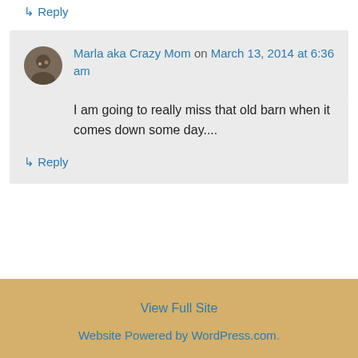↳ Reply
Marla aka Crazy Mom on March 13, 2014 at 6:36 am
I am going to really miss that old barn when it comes down some day....
↳ Reply
View Full Site
Website Powered by WordPress.com.